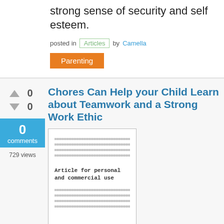strong sense of security and self esteem.
posted in Articles by Camella
Parenting
Chores Can Help your Child Learn about Teamwork and a Strong Work Ethic
[Figure (illustration): Thumbnail image of an article document with dashed lines and text reading 'Article for personal and commercial use']
Chores can help develop a